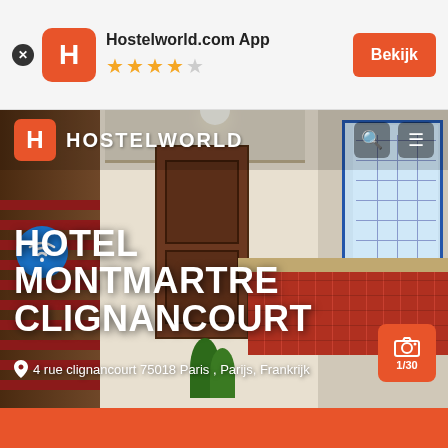[Figure (screenshot): Hostelworld.com app banner at top with orange H logo, 4 filled stars and 1 empty star, and orange Bekijk button on the right. Below is a hotel interior photo showing a hallway with stairs, brown door, red tiled kitchen area, and plants. Hostelworld nav bar overlaid on photo with orange H logo and HOSTELWORLD text. Blue wifi circle icon bottom left. Hotel name HOTEL MONTMARTRE CLIGNANCOURT in large white bold text. Address below: 4 rue clignancourt 75018 Paris, Parijs, Frankrijk. Orange camera badge with 1/30 bottom right.]
HOTEL MONTMARTRE CLIGNANCOURT
4 rue clignancourt 75018 Paris , Parijs, Frankrijk